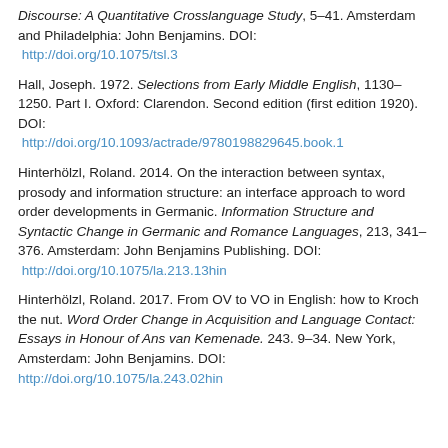Discourse: A Quantitative Crosslanguage Study, 5–41. Amsterdam and Philadelphia: John Benjamins. DOI: http://doi.org/10.1075/tsl.3
Hall, Joseph. 1972. Selections from Early Middle English, 1130–1250. Part I. Oxford: Clarendon. Second edition (first edition 1920). DOI: http://doi.org/10.1093/actrade/9780198829645.book.1
Hinterhölzl, Roland. 2014. On the interaction between syntax, prosody and information structure: an interface approach to word order developments in Germanic. Information Structure and Syntactic Change in Germanic and Romance Languages, 213, 341–376. Amsterdam: John Benjamins Publishing. DOI: http://doi.org/10.1075/la.213.13hin
Hinterhölzl, Roland. 2017. From OV to VO in English: how to Kroch the nut. Word Order Change in Acquisition and Language Contact: Essays in Honour of Ans van Kemenade. 243. 9–34. New York, Amsterdam: John Benjamins. DOI: http://doi.org/10.1075/la.243.02hin